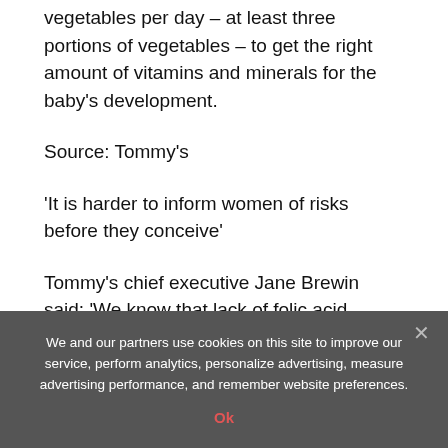vegetables per day – at least three portions of vegetables – to get the right amount of vitamins and minerals for the baby's development.
Source: Tommy's
'It is harder to inform women of risks before they conceive'
Tommy's chief executive Jane Brewin said: 'We know that lack of folic acid, smoking, inadequate nutrition,
We and our partners use cookies on this site to improve our service, perform analytics, personalize advertising, measure advertising performance, and remember website preferences.
Ok